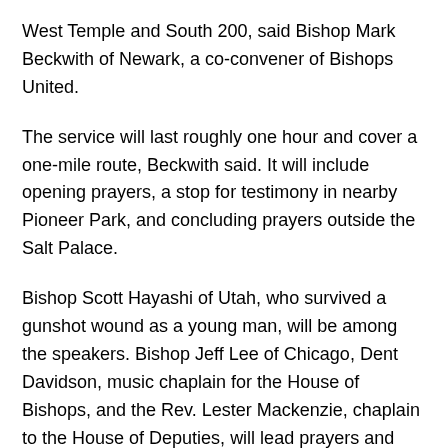West Temple and South 200, said Bishop Mark Beckwith of Newark, a co-convener of Bishops United.
The service will last roughly one hour and cover a one-mile route, Beckwith said. It will include opening prayers, a stop for testimony in nearby Pioneer Park, and concluding prayers outside the Salt Palace.
Bishop Scott Hayashi of Utah, who survived a gunshot wound as a young man, will be among the speakers. Bishop Jeff Lee of Chicago, Dent Davidson, music chaplain for the House of Bishops, and the Rev. Lester Mackenzie, chaplain to the House of Deputies, will lead prayers and music during the procession.